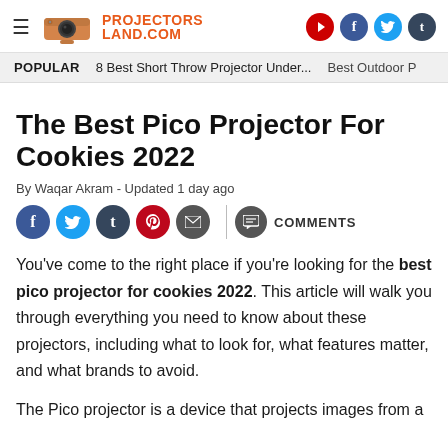PROJECTORS LAND.COM
POPULAR  8 Best Short Throw Projector Under...  Best Outdoor P
The Best Pico Projector For Cookies 2022
By Waqar Akram - Updated 1 day ago
[Figure (infographic): Social share buttons: Facebook, Twitter, Tumblr, Pinterest, Email, and COMMENTS button]
You’ve come to the right place if you’re looking for the best pico projector for cookies 2022. This article will walk you through everything you need to know about these projectors, including what to look for, what features matter, and what brands to avoid.
The Pico projector is a device that projects images from a